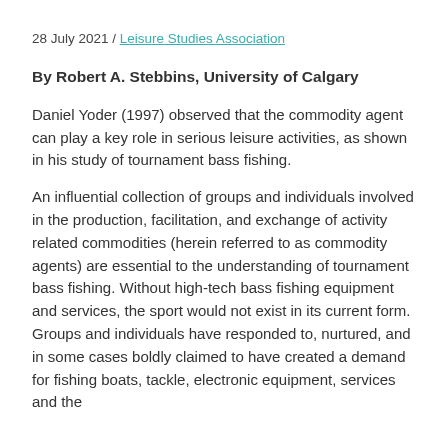28 July 2021 / Leisure Studies Association
By Robert A. Stebbins, University of Calgary
Daniel Yoder (1997) observed that the commodity agent can play a key role in serious leisure activities, as shown in his study of tournament bass fishing.
An influential collection of groups and individuals involved in the production, facilitation, and exchange of activity related commodities (herein referred to as commodity agents) are essential to the understanding of tournament bass fishing. Without high-tech bass fishing equipment and services, the sport would not exist in its current form. Groups and individuals have responded to, nurtured, and in some cases boldly claimed to have created a demand for fishing boats, tackle, electronic equipment, services and the